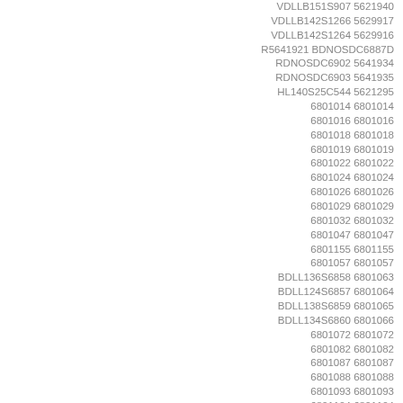VDLLB151S907 5621940
VDLLB142S1266 5629917
VDLLB142S1264 5629916
R5641921 BDNOSDC6887D
RDNOSDC6902 5641934
RDNOSDC6903 5641935
HL140S25C544 5621295
6801014 6801014
6801016 6801016
6801018 6801018
6801019 6801019
6801022 6801022
6801024 6801024
6801026 6801026
6801029 6801029
6801032 6801032
6801047 6801047
6801155 6801155
6801057 6801057
BDLL136S6858 6801063
BDLL124S6857 6801064
BDLL138S6859 6801065
BDLL134S6860 6801066
6801072 6801072
6801082 6801082
6801087 6801087
6801088 6801088
6801093 6801093
6801104 6801104
6801106 6801106
6801110 6801110
6801119 6801119
6801124 6801124
6801131 6801131
6801134 6801134
6801141 6801141
6801155 6801155
6801157 6801157